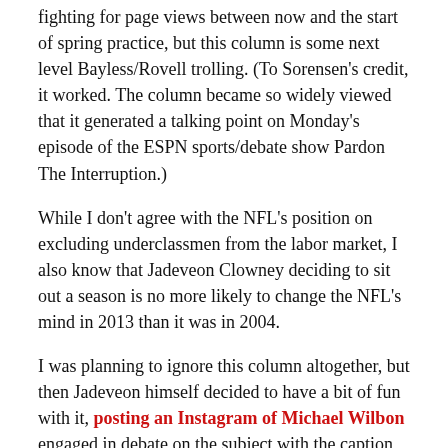fighting for page views between now and the start of spring practice, but this column is some next level Bayless/Rovell trolling. (To Sorensen's credit, it worked. The column became so widely viewed that it generated a talking point on Monday's episode of the ESPN sports/debate show Pardon The Interruption.)
While I don't agree with the NFL's position on excluding underclassmen from the labor market, I also know that Jadeveon Clowney deciding to sit out a season is no more likely to change the NFL's mind in 2013 than it was in 2004.
I was planning to ignore this column altogether, but then Jadeveon himself decided to have a bit of fun with it, posting an Instagram of Michael Wilbon engaged in debate on the subject with the caption "got me thinking". Posting this would not be inconsistent with